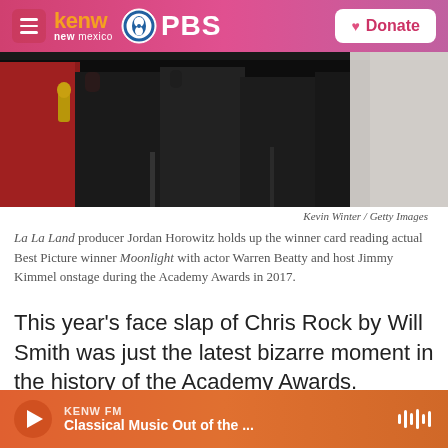[Figure (logo): KENW New Mexico PBS logo with hamburger menu and Donate button in pink/magenta gradient header]
[Figure (photo): Dark photo of people in formal wear on stage, likely at Academy Awards ceremony]
Kevin Winter / Getty Images
La La Land producer Jordan Horowitz holds up the winner card reading actual Best Picture winner Moonlight with actor Warren Beatty and host Jimmy Kimmel onstage during the Academy Awards in 2017.
This year's face slap of Chris Rock by Will Smith was just the latest bizarre moment in the history of the Academy Awards.
From Roberto Benigni climbing across the theater's
[Figure (other): KENW FM audio player bar at bottom: Classical Music Out of the ...]